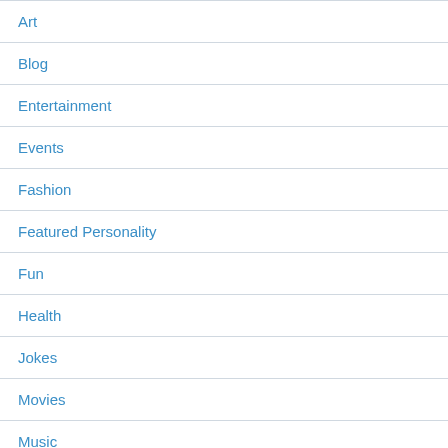Art
Blog
Entertainment
Events
Fashion
Featured Personality
Fun
Health
Jokes
Movies
Music
Nepali Comedy
News